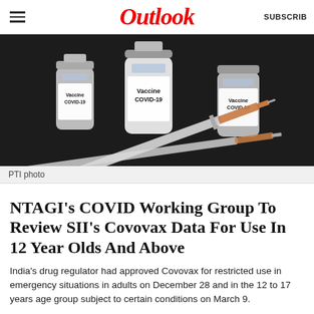Outlook
[Figure (photo): Three vaccine vials labeled 'Vaccine COVID-19' with a syringe in the foreground on a dark background.]
PTI photo
NTAGI's COVID Working Group To Review SII's Covovax Data For Use In 12 Year Olds And Above
India's drug regulator had approved Covovax for restricted use in emergency situations in adults on December 28 and in the 12 to 17 years age group subject to certain conditions on March 9.